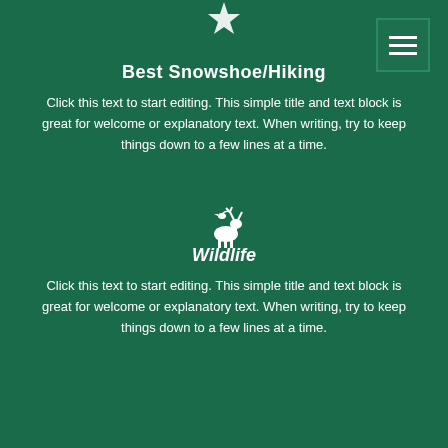[Figure (logo): White snowflake/arrowhead logo at top center]
[Figure (other): Hamburger menu button top right with three white horizontal lines on dark green background]
Best Snowshoe/Hiking
Click this text to start editing. This simple title and text block is great for welcome or explanatory text. When writing, try to keep things down to a few lines at a time.
[Figure (illustration): White wildlife icon depicting a deer/moose with a bird above it]
Wildlife
Click this text to start editing. This simple title and text block is great for welcome or explanatory text. When writing, try to keep things down to a few lines at a time.